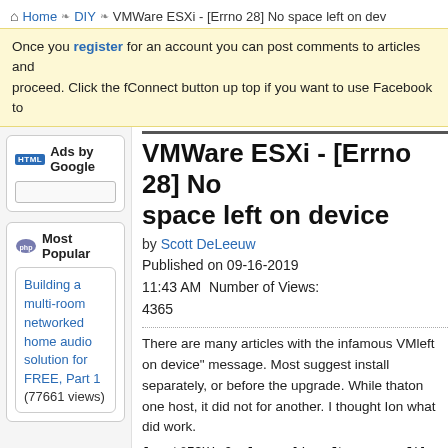Home > DIY > VMWare ESXi - [Errno 28] No space left on dev
Once you register for an account you can post comments to articles and proceed. Click the fConnect button up top if you want to use Facebook to proceed.
Ads by Google
Most Popular
Building a multi-room networked home audio solution for FREE, Part 1 (77661 views)
VMWare ESXi - [Errno 28] No space left on device
by Scott DeLeeuw
Published on 09-16-2019
11:43 AM  Number of Views:
4365
There are many articles with the infamous VM... left on device" message. Most suggest install... separately, or before the upgrade. While that ... on one host, it did not for another. I thought I ... on what did work.
[root@ESXi-2:~] esxcli software profile updat... 20190802001-no-tools -d